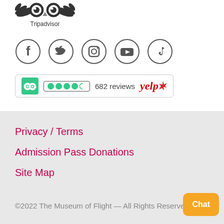[Figure (logo): Tripadvisor owl logo with wings and text 'Tripadvisor' below]
[Figure (illustration): Row of social media icons in circles: Facebook, Twitter, Instagram, YouTube, TikTok]
[Figure (illustration): Tripadvisor review bar with green TripAdvisor icon, 4.5 green dots, '682 reviews', and Yelp logo]
Privacy / Terms
Admission Pass Donations
Site Map
©2022 The Museum of Flight — All Rights Reserved.